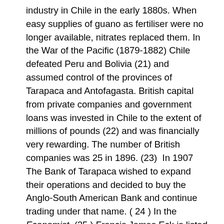industry in Chile in the early 1880s. When easy supplies of guano as fertiliser were no longer available, nitrates replaced them. In the War of the Pacific (1879-1882) Chile defeated Peru and Bolivia (21) and assumed control of the provinces of Tarapaca and Antofagasta. British capital from private companies and government loans was invested in Chile to the extent of millions of pounds (22) and was financially very rewarding. The number of British companies was 25 in 1896. (23)  In 1907 The Bank of Tarapaca wished to expand their operations and decided to buy the Anglo-South American Bank and continue trading under that name. ( 24 ) In the Economist  (25 ) Francis James Eck is listed as a Director of that bank working there until his resignation in 1913.(26 ) He had other directorships, in particular, in the Scotsman, he is listed as a Director of the Nitrates provisions Supply Company. (27)
His Will (28), which is extensive, details bequests to his